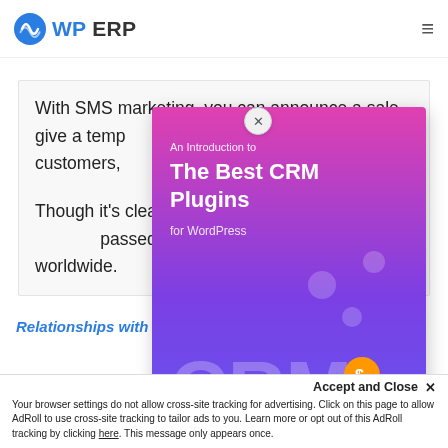[Figure (logo): WP ERP logo with blue circular icon and text]
With SMS marketing, you can announce a sale, give a temporary discount, reward loyal customers, promote events, share news, and more.
Though it's clear that mobile SMS is on the decline passed its prime, it's still used worldwide.
[Figure (illustration): CRM plugin promotional popup showing 'An Introduction to The Best CRM Plugins for WordPress' with CRM illustration]
Accept and Close ✕
Your browser settings do not allow cross-site tracking for advertising. Click on this page to allow AdRoll to use cross-site tracking to tailor ads to you. Learn more or opt out of this AdRoll tracking by clicking here. This message only appears once.
Relationships with Clients